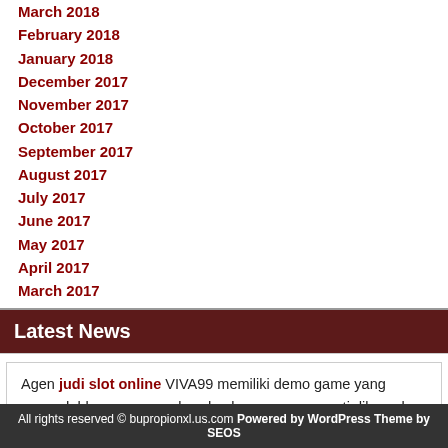March 2018
February 2018
January 2018
December 2017
November 2017
October 2017
September 2017
August 2017
July 2017
June 2017
May 2017
April 2017
March 2017
Latest News
Agen judi slot online VIVA99 memiliki demo game yang memudahkan para member dan kemenangan pasti dibayarkan serta promo slot online menarik.
All rights reserved © bupropionxl.us.com Powered by WordPress Theme by SEOS